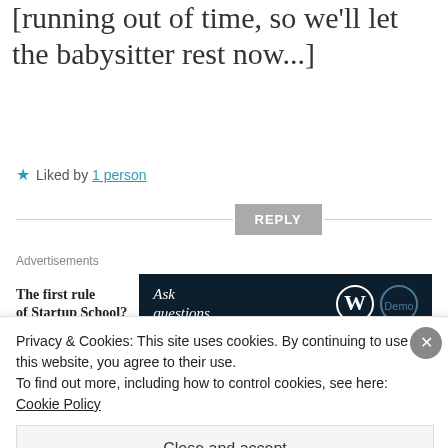[running out of time, so we’ll let the babysitter rest now...]
★ Liked by 1 person
REPLY
Advertisements
The first rule of Startup School?
Ask questions.
[Figure (logo): Partial gold/olive logo shape at bottom left]
Privacy & Cookies: This site uses cookies. By continuing to use this website, you agree to their use.
To find out more, including how to control cookies, see here:
Cookie Policy
Close and accept